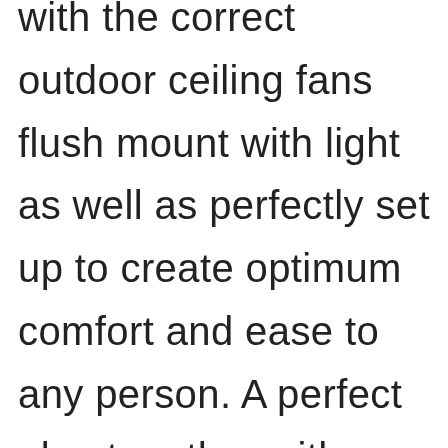with the correct outdoor ceiling fans flush mount with light as well as perfectly set up to create optimum comfort and ease to any person. A perfect plan together with combination from the ceiling fans would escalate the decorative scheme of your room thereby making it a bit more look good also comfy, resulting into this recent lifestyle to the home. Before you decide on ordering a product also in fact, till you possibly spend money on searching around for potential item purchased there are numerous features you should be sure to do before anything else.

The fastest way to purchase the correct ceiling fans is taking a perfect